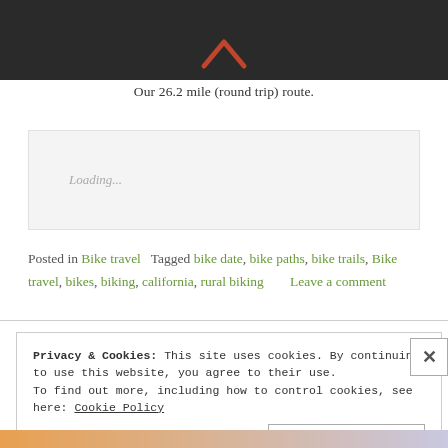[Figure (screenshot): Map screenshot showing a dark background with a small orange/red chevron arrow pointing upward in the center]
Our 26.2 mile (round trip) route.
Loading...
Posted in Bike travel   Tagged bike date, bike paths, bike trails, Bike travel, bikes, biking, california, rural biking   Leave a comment
Privacy & Cookies: This site uses cookies. By continuing to use this website, you agree to their use.
To find out more, including how to control cookies, see here: Cookie Policy
Close and accept